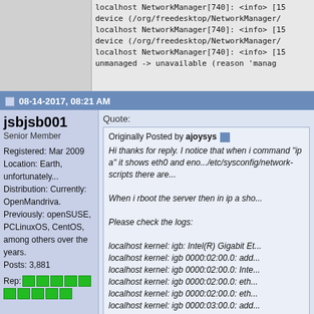localhost NetworkManager[740]: <info> [15... device (/org/freedesktop/NetworkManager/... localhost NetworkManager[740]: <info> [15 device (/org/freedesktop/NetworkManager/... localhost NetworkManager[740]: <info> [15 unmanaged -> unavailable (reason 'manag...
08-14-2017, 08:21 AM
jsbjsb001
Senior Member
Registered: Mar 2009
Location: Earth, unfortunately...
Distribution: Currently: OpenMandriva. Previously: openSUSE, PCLinuxOS, CentOS, among others over the years.
Posts: 3,881
Rep:
Quote:
Originally Posted by ajoysys
Hi thanks for reply. I notice that when i command "ip a" it shows eth0 and eno.../etc/sysconfig/network-scripts there are...
When i rboot the server then in ip a sh...
Please check the logs:
localhost kernel: igb: Intel(R) Gigabit Et...
localhost kernel: igb 0000:02:00.0: add...
localhost kernel: igb 0000:02:00.0: Intel...
localhost kernel: igb 0000:02:00.0: eth...
localhost kernel: igb 0000:02:00.0: eth...
localhost kernel: igb 0000:03:00.0: add...
localhost kernel: igb 0000:03:00.0: Intel...
localhost kernel: igb 0000:03:00.0: eth...
localhost kernel: igb 0000:03:00.0: eth...
localhost systemd-udevd: Error sho...